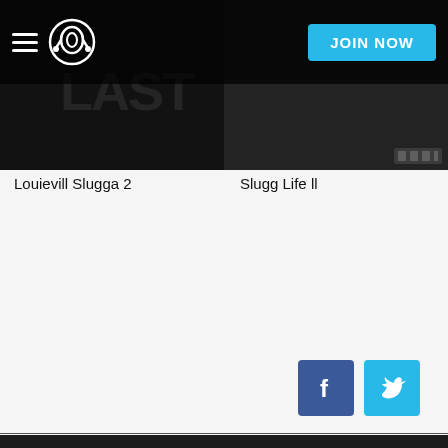Napster – JOIN NOW
[Figure (screenshot): Album cover for Louievill Slugga 2, dark background with text]
[Figure (screenshot): Album cover for Slugg Life II, dark background]
Louievill Slugga 2
Slugg Life ll
[Figure (logo): Facebook logo icon in blue square]
[Figure (logo): Twitter logo icon in blue square]
© 2022 Rhapsody International Inc., a subsidiary of Napster Group PLC. All rights reserved. Napster and the Napster logo are registered trademarks of Rhapsody International Inc.
Terms of Use | Privacy Policy | End User Agreement
English